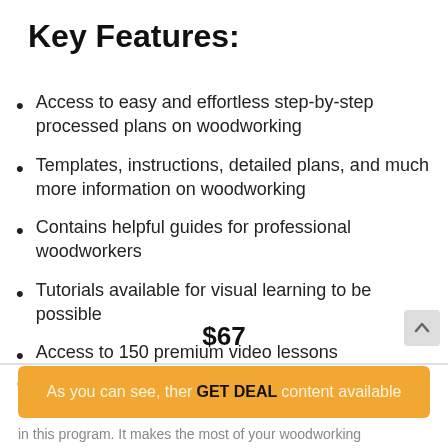Key Features:
Access to easy and effortless step-by-step processed plans on woodworking
Templates, instructions, detailed plans, and much more information on woodworking
Contains helpful guides for professional woodworkers
Tutorials available for visual learning to be possible
Access to 150 premium video lessons
16,000 different projects on woodworking
$67
As you can see, there GET DEAL content available
in this program. It makes the most of your woodworking